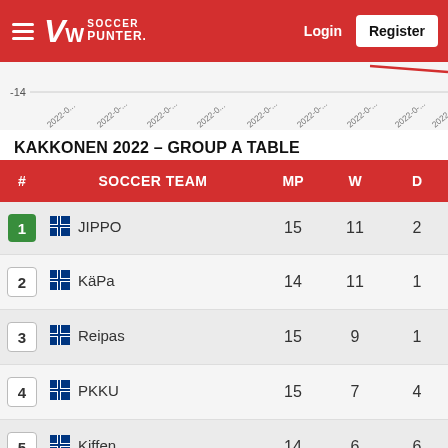Soccer Punter — Login | Register
[Figure (continuous-plot): Partial line chart showing dates 2022-0... on x-axis, with y-axis value -14 visible at bottom. Red line partially visible at top.]
KAKKONEN 2022 – GROUP A TABLE
| # | SOCCER TEAM | MP | W | D |
| --- | --- | --- | --- | --- |
| 1 | JIPPO | 15 | 11 | 2 |
| 2 | KäPa | 14 | 11 | 1 |
| 3 | Reipas | 15 | 9 | 1 |
| 4 | PKKU | 15 | 7 | 4 |
| 5 | Kiffen | 14 | 6 | 6 |